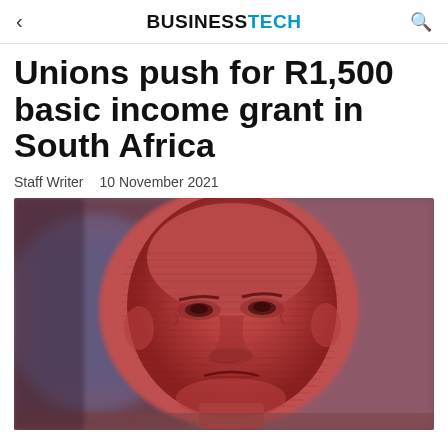BUSINESSTECH
Unions push for R1,500 basic income grant in South Africa
Staff Writer   10 November 2021
[Figure (photo): Close-up macro photograph of a South African Rand banknote showing Nelson Mandela's face printed in red tones with fine engraved line detail, blurred background]